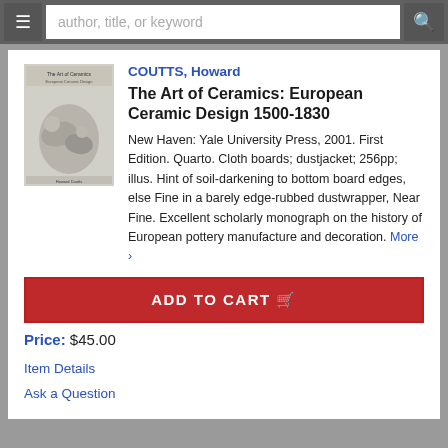author, title, or keyword
[Figure (photo): Book cover photo for 'The Art of Ceramics: European Ceramic Design 1500-1830' showing a ceramic figurine sculpture of reclining figures]
COUTTS, Howard
The Art of Ceramics: European Ceramic Design 1500-1830
New Haven: Yale University Press, 2001. First Edition. Quarto. Cloth boards; dustjacket; 256pp; illus. Hint of soil-darkening to bottom board edges, else Fine in a barely edge-rubbed dustwrapper, Near Fine. Excellent scholarly monograph on the history of European pottery manufacture and decoration. More ›
ADD TO CART
Price: $45.00
Item Details
Ask a Question